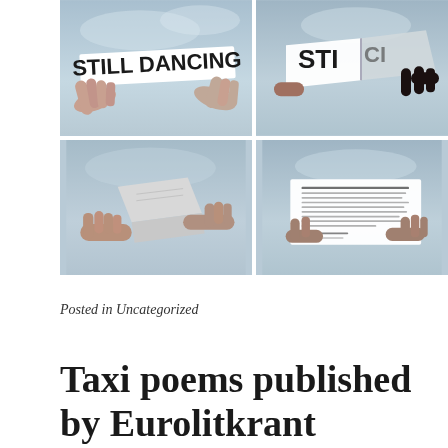[Figure (photo): Four photos in a 2x2 grid showing hands holding paper items outdoors against a grey sky. Top-left: hands holding a banner reading 'STILL DANCING'. Top-right: hands holding a folded/spread banner reading 'STI...' partially visible. Bottom-left: hands folding/opening a small booklet or paper. Bottom-right: hands holding a paper with small text (a poem or document).]
Posted in Uncategorized
Taxi poems published by Eurolitkrant